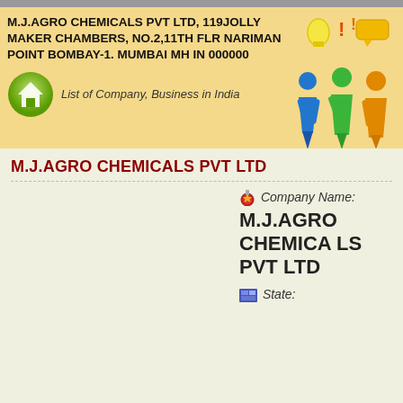M.J.AGRO CHEMICALS PVT LTD, 119JOLLY MAKER CHAMBERS, NO.2,11TH FLR NARIMAN POINT BOMBAY-1. MUMBAI MH IN 000000
List of Company, Business in India
M.J.AGRO CHEMICALS PVT LTD
Company Name: M.J.AGRO CHEMICALS PVT LTD
State: